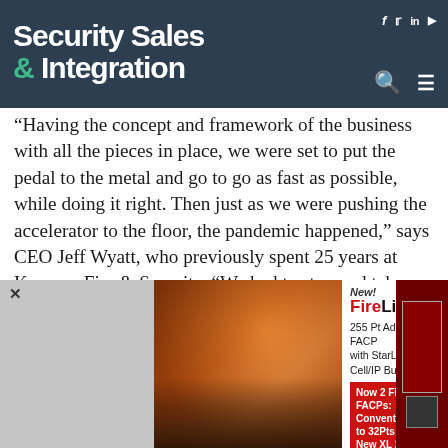Security Sales & Integration
“Having the concept and framework of the business with all the pieces in place, we were set to put the pedal to the metal and go to go as fast as possible, while doing it right. Then just as we were pushing the accelerator to the floor, the pandemic happened,” says CEO Jeff Wyatt, who previously spent 25 years at Koorsen Fire & Security. “We had to stop and take our foot off the gas. We had to realize that’s not possible; we’re facing something that we’ve never faced before.
[Figure (other): Advertisement for FireLink XL 255 FACP. Shows firefighters on left, product text: New! FireLink XL 255 FACP, 255 Pt Addressable FACP with StarLink Cell/IP Built in. Now 2 FireLink FACPs: Conventional up to 32Pts & New XL 255 Addressable Pts.]